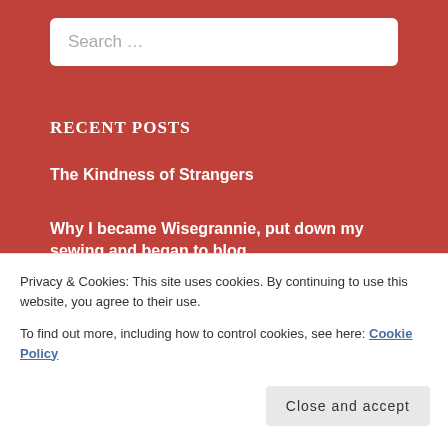Search …
RECENT POSTS
The Kindness of Strangers
Why I became Wisegrannie, put down my sewing and began to blog
Campaign? What campaign? Am I bothered?
Privacy & Cookies: This site uses cookies. By continuing to use this website, you agree to their use.
To find out more, including how to control cookies, see here: Cookie Policy
Close and accept